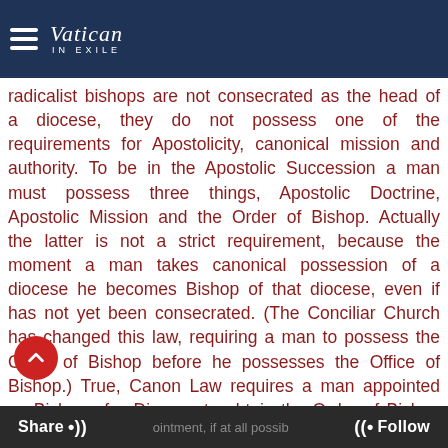Vatican In Exile
radicalist bishops are not consecrated as the head of a diocese, they do not possess one of the requirements for Apostolicity, canonical mission and authority. To be in the Apostolic Succession a man must possess three things, Apostolic Doctrine, Apostolic Mission and the Order of Bishop. Actually the latter is not a strict requirement, because the moment a man takes canonical possession of a diocese he becomes Bishop of that diocese, even if has not yet been consecrated. (The Conciliar Church has changed this law, requiring a man to possess the Order of Bishop before he possesses the Office of Bishop.) True, Canon Law requires a man appointed as Bishop of a Diocese to obtain the Order of Bishop within several months of his appointment, if at all possib
Share •))ointment, if at all possib (( Follow